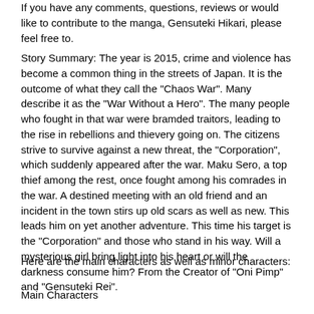If you have any comments, questions, reviews or would like to contribute to the manga, Gensuteki Hikari, please feel free to.
Story Summary: The year is 2015, crime and violence has become a common thing in the streets of Japan. It is the outcome of what they call the "Chaos War". Many describe it as the "War Without a Hero". The many people who fought in that war were bramded traitors, leading to the rise in rebellions and thievery going on. The citizens strive to survive against a new threat, the "Corporation", which suddenly appeared after the war. Maku Sero, a top thief among the rest, once fought among his comrades in the war. A destined meeting with an old friend and an incident in the town stirs up old scars as well as new. This leads him on yet another adventure. This time his target is the "Corporation" and those who stand in his way. Will a mysterious girl bring light into his heart or will the darkness consume him? From the Creator of "Oni Pimp" and "Gensuteki Rei".
Here are the main characters as well as minor characters:
Main Characters